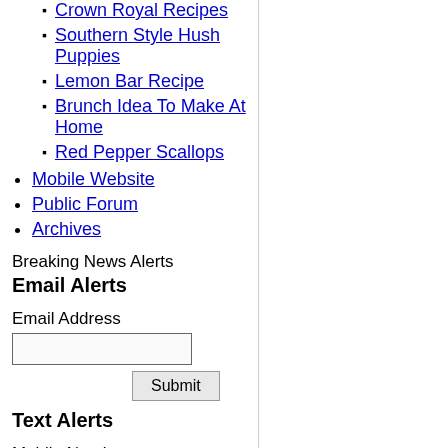Crown Royal Recipes
Southern Style Hush Puppies
Lemon Bar Recipe
Brunch Idea To Make At Home
Red Pepper Scallops
Mobile Website
Public Forum
Archives
Breaking News Alerts
Email Alerts
Email Address
Text Alerts
Mobile Number